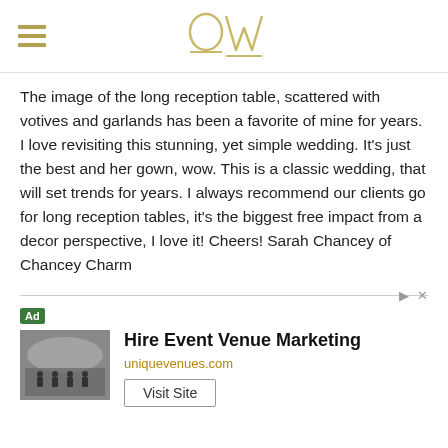OW (logo)
The image of the long reception table, scattered with votives and garlands has been a favorite of mine for years. I love revisiting this stunning, yet simple wedding. It’s just the best and her gown, wow. This is a classic wedding, that will set trends for years. I always recommend our clients go for long reception tables, it’s the biggest free impact from a decor perspective, I love it! Cheers! Sarah Chancey of Chancey Charm
[Figure (other): Advertisement banner: Hire Event Venue Marketing, uniquevenues.com, with event venue image and Visit Site button]